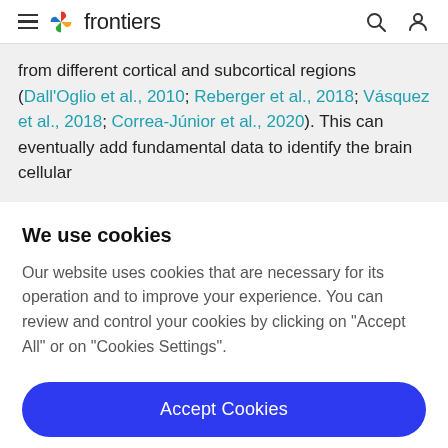frontiers
from different cortical and subcortical regions (Dall'Oglio et al., 2010; Reberger et al., 2018; Vásquez et al., 2018; Correa-Júnior et al., 2020). This can eventually add fundamental data to identify the brain cellular
We use cookies
Our website uses cookies that are necessary for its operation and to improve your experience. You can review and control your cookies by clicking on "Accept All" or on "Cookies Settings".
Accept Cookies
Cookies Settings